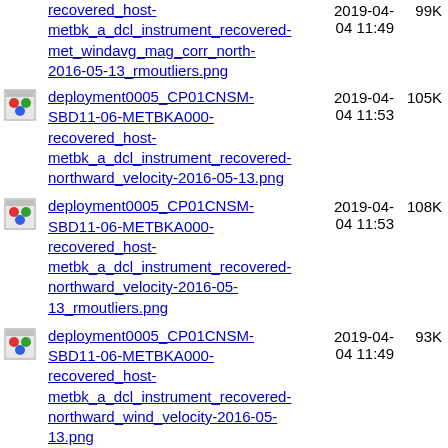recovered_host-metbk_a_dcl_instrument_recovered-met_windavg_mag_corr_north-2016-05-13_rmoutliers.png | 2019-04-04 11:49 | 99K
deployment0005_CP01CNSM-SBD11-06-METBKA000-recovered_host-metbk_a_dcl_instrument_recovered-northward_velocity-2016-05-13.png | 2019-04-04 11:53 | 105K
deployment0005_CP01CNSM-SBD11-06-METBKA000-recovered_host-metbk_a_dcl_instrument_recovered-northward_velocity-2016-05-13_rmoutliers.png | 2019-04-04 11:53 | 108K
deployment0005_CP01CNSM-SBD11-06-METBKA000-recovered_host-metbk_a_dcl_instrument_recovered-northward_wind_velocity-2016-05-13.png | 2019-04-04 11:49 | 93K
deployment0005_CP01CNSM-SBD11-06-METBKA000-recovered_host-metbk_a_dcl_instrument_recovered- | 2019-04-04 11:48 | 96K